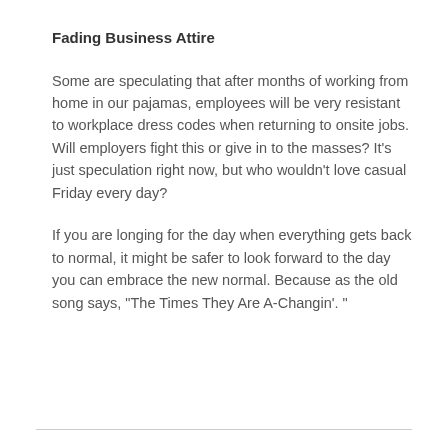Fading Business Attire
Some are speculating that after months of working from home in our pajamas, employees will be very resistant to workplace dress codes when returning to onsite jobs. Will employers fight this or give in to the masses? It's just speculation right now, but who wouldn't love casual Friday every day?
If you are longing for the day when everything gets back to normal, it might be safer to look forward to the day you can embrace the new normal. Because as the old song says, "The Times They Are A-Changin'. "